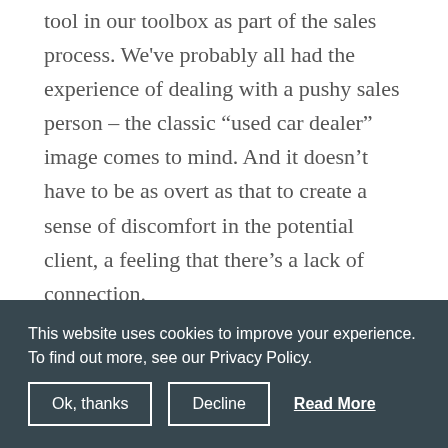tool in our toolbox as part of the sales process. We've probably all had the experience of dealing with a pushy sales person – the classic “used car dealer” image comes to mind. And it doesn't have to be as overt as that to create a sense of discomfort in the potential client, a feeling that there's a lack of connection.
But it's not just annoying to have to deal with a sales person that we don't resonate with, this kind of encounter can
This website uses cookies to improve your experience. To find out more, see our Privacy Policy.